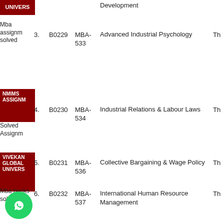| # | Code | MBA | Subject | Type |
| --- | --- | --- | --- | --- |
| 3. | B0229 | MBA-533 | Advanced Industrial Psychology | Th |
| 4. | B0230 | MBA-534 | Industrial Relations & Labour Laws | Th |
| 5. | B0231 | MBA-536 | Collective Bargaining & Wage Policy | Th |
| 6. | B0232 | MBA-537 | International Human Resource Management | Th |
[Figure (logo): UNIVERS university logo badge (dark red)]
[Figure (logo): NMIMS ASSIGNM solved assignments badge (dark red)]
[Figure (logo): VIVEKAN GLOBAL UNIVERS university badge (dark red)]
Mba assignm solved
Solved Assignm
Mba books solved
[Figure (logo): WhatsApp green circular button icon]